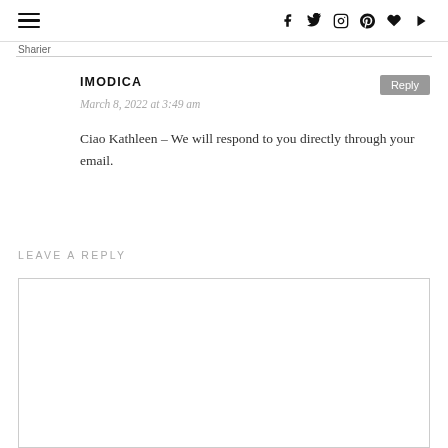≡  f  t  instagram  pinterest  ♥  youtube
IMODICA
March 8, 2022 at 3:49 am
Ciao Kathleen – We will respond to you directly through your email.
LEAVE A REPLY